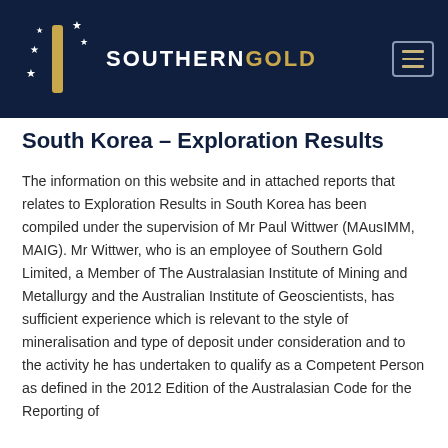SOUTHERN GOLD
South Korea – Exploration Results
The information on this website and in attached reports that relates to Exploration Results in South Korea has been compiled under the supervision of Mr Paul Wittwer (MAusIMM, MAIG). Mr Wittwer, who is an employee of Southern Gold Limited, a Member of The Australasian Institute of Mining and Metallurgy and the Australian Institute of Geoscientists, has sufficient experience which is relevant to the style of mineralisation and type of deposit under consideration and to the activity he has undertaken to qualify as a Competent Person as defined in the 2012 Edition of the Australasian Code for the Reporting of